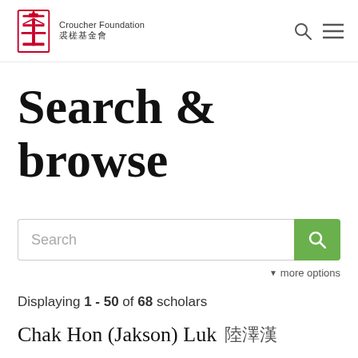[Figure (logo): Croucher Foundation logo with red Chinese-style seal graphic, English text 'Croucher Foundation' and Chinese text '裘槎基金會']
Search & browse
Search (input field with green search button)
▼ more options
Displaying 1 - 50 of 68 scholars
Chak Hon (Jakson) Luk 陸澤漢